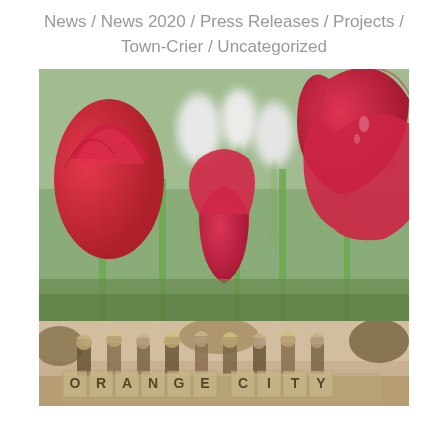News / News 2020 / Press Releases / Projects / Town-Crier / Uncategorized
[Figure (photo): Close-up photograph of red and pink tulips in bloom with white tulips and colorful flowers in the blurred background, green stems visible]
[Figure (photo): Black and white vintage photograph of people in Dutch costumes holding large letters spelling out ORANGE CITY]